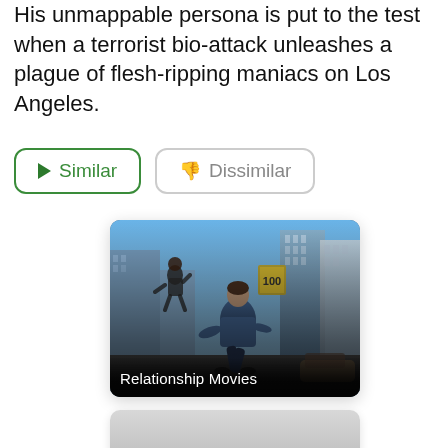His unmappable persona is put to the test when a terrorist bio-attack unleashes a plague of flesh-ripping maniacs on Los Angeles.
Similar
Dissimilar
[Figure (photo): Movie category card showing an action scene with a man running through a city street with skyscrapers, labeled 'Relationship Movies']
[Figure (photo): Partially visible movie category card at bottom of page, gray/silver gradient background]